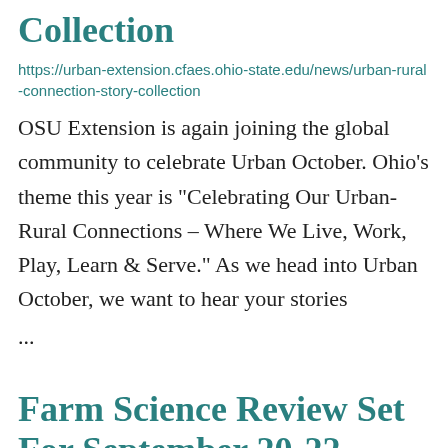Collection
https://urban-extension.cfaes.ohio-state.edu/news/urban-rural-connection-story-collection
OSU Extension is again joining the global community to celebrate Urban October. Ohio's theme this year is “Celebrating Our Urban-Rural Connections – Where We Live, Work, Play, Learn & Serve.” As we head into Urban October, we want to hear your stories ...
Farm Science Review Set For September 20-22, 2022!
https://champaign.osu.edu/news/farm-science-review-set-september-20-22-2022